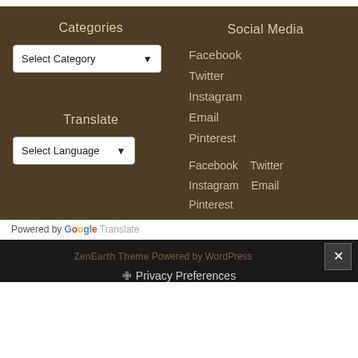Categories
Select Category
Social Media
Facebook
Twitter
Instagram
Email
Pinterest
Translate
Select Language
Facebook   Twitter   Instagram   Email   Pinterest
Powered by Google Translate
ZenEarth Theme Powered by WordPress
Privacy Preferences